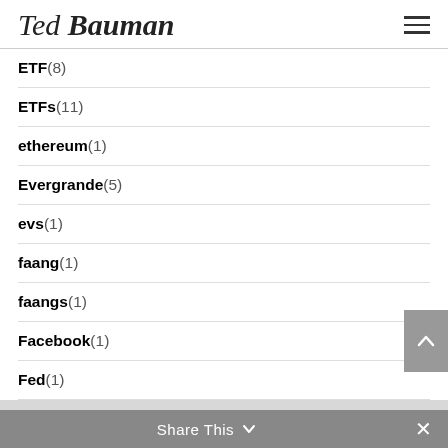[Figure (logo): Ted Bauman signature logo in italic/script style]
ETF (8)
ETFs (11)
ethereum (1)
Evergrande (5)
evs (1)
faang (1)
faangs (1)
Facebook (1)
Fed (1)
Federal Reserve (31)
Financial Sector (1)
Share This ∨  ✕